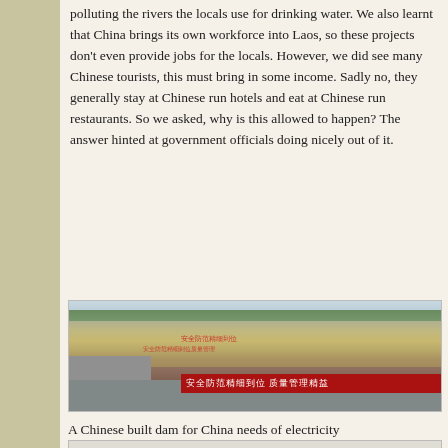polluting the rivers the locals use for drinking water. We also learnt that China brings its own workforce into Laos, so these projects don't even provide jobs for the locals. However, we did see many Chinese tourists, this must bring in some income. Sadly no, they generally stay at Chinese run hotels and eat at Chinese run restaurants. So we asked, why is this allowed to happen? The answer hinted at government officials doing nicely out of it.
[Figure (photo): A large dam construction site in a mountainous area. The hillside has been excavated showing concrete terracing with red Chinese text/markings on the slope. Green hills visible in background. A red banner at the bottom reads Chinese characters. Construction infrastructure visible in the foreground.]
A Chinese built dam for China needs of electricity